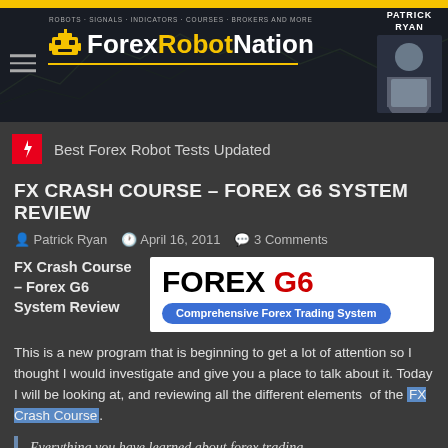[Figure (logo): ForexRobotNation website header banner with logo, robot icon, hamburger menu, and Patrick Ryan photo]
Best Forex Robot Tests Updated
FX CRASH COURSE – FOREX G6 SYSTEM REVIEW
Patrick Ryan   April 16, 2011   3 Comments
FX Crash Course – Forex G6 System Review
[Figure (logo): FOREX G6 logo with text 'Comprehensive Forex Trading System' on blue badge]
This is a new program that is beginning to get a lot of attention so I thought I would investigate and give you a place to talk about it. Today I will be looking at, and reviewing all the different elements of the FX Crash Course.
Everything you have learned about forex trading